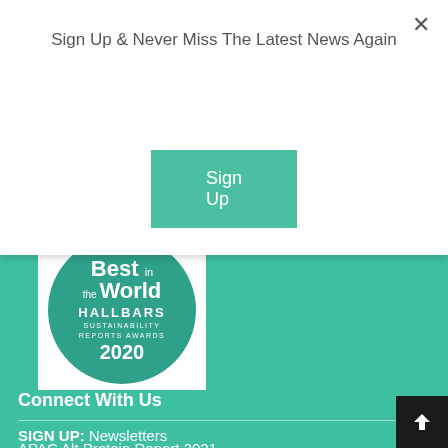Sign Up & Never Miss The Latest News Again
Sign Up
Global Award Winner
[Figure (logo): Best in the World HALLBARS SUSTAINABILITY REPORTS AWARDS 2020 badge — circular teal badge with white text]
Connect With Us
SIGN UP: Newsletters
APAC Alt Protein Report 2021